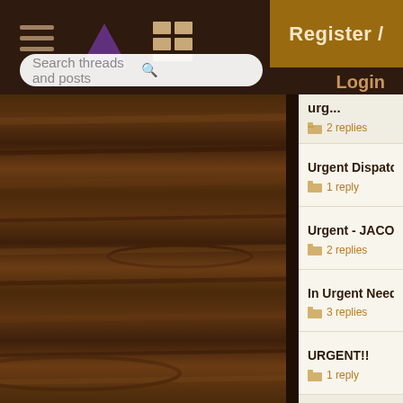Forum header bar with hamburger menu, pie icon, grid icon, search bar
Register / Login
Search threads and posts
urg... — 2 replies
Urgent Dispatch Actio... — 1 reply
Urgent - JACO — 2 replies
In Urgent Need Of He... — 3 replies
URGENT!! — 1 reply